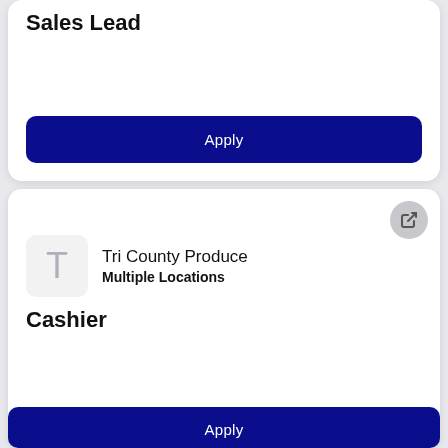Sales Lead
Apply
Tri County Produce
Multiple Locations
Cashier
Apply